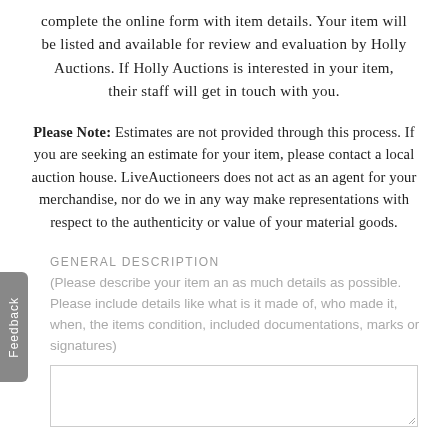complete the online form with item details. Your item will be listed and available for review and evaluation by Holly Auctions. If Holly Auctions is interested in your item, their staff will get in touch with you.
Please Note: Estimates are not provided through this process. If you are seeking an estimate for your item, please contact a local auction house. LiveAuctioneers does not act as an agent for your merchandise, nor do we in any way make representations with respect to the authenticity or value of your material goods.
GENERAL DESCRIPTION
(Please describe your item an as much details as possible. Please include details like what is it made of, who made it, when, the items condition, included documentations, marks or signatures)